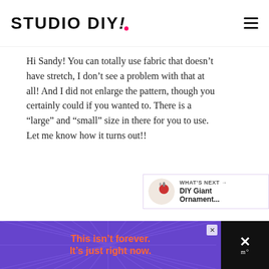STUDIO DIY!
Hi Sandy! You can totally use fabric that doesn't have stretch, I don't see a problem with that at all! And I did not enlarge the pattern, though you certainly could if you wanted to. There is a “large” and “small” size in there for you to use. Let me know how it turns out!!
Reply
[Figure (other): Heart icon button (pink circle with heart) and share icon button (purple circle with share symbol), with count 35 below heart]
[Figure (other): What's Next panel with thumbnail image of DIY Giant Ornament and text 'WHAT'S NEXT → DIY Giant Ornament...']
[Figure (other): Advertisement banner with purple starburst background, orange text 'This isn't forever. It's just right now.' and close button on right side with X and 'm°' symbol]